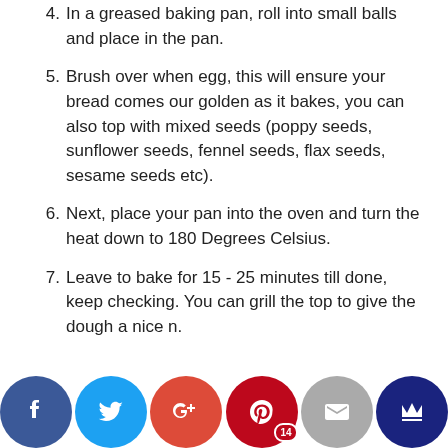4. In a greased baking pan, roll into small balls and place in the pan.
5. Brush over when egg, this will ensure your bread comes our golden as it bakes, you can also top with mixed seeds (poppy seeds, sunflower seeds, fennel seeds, flax seeds, sesame seeds etc).
6. Next, place your pan into the oven and turn the heat down to 180 Degrees Celsius.
7. Leave to bake for 15 - 25 minutes till done, keep checking. You can grill the top to give the dough a nice n.
[Figure (other): Social sharing bar with Facebook, Twitter, Google+, Pinterest (14), Email, and Crown icons]